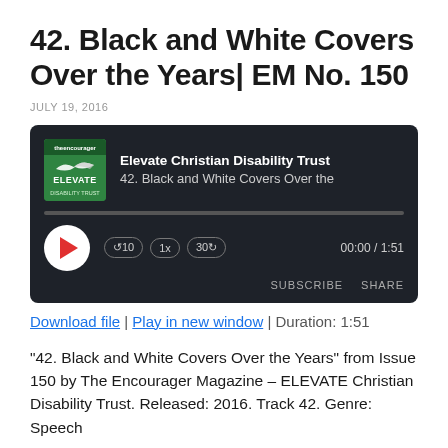42. Black and White Covers Over the Years| EM No. 150
JULY 19, 2016
[Figure (screenshot): Audio player for podcast episode '42. Black and White Covers Over the Years' by Elevate Christian Disability Trust. Shows play button, progress bar, rewind 10, 1x speed, forward 30 controls, time 00:00 / 1:51, SUBSCRIBE and SHARE buttons.]
Download file | Play in new window | Duration: 1:51
“42. Black and White Covers Over the Years” from Issue 150 by The Encourager Magazine – ELEVATE Christian Disability Trust. Released: 2016. Track 42. Genre: Speech